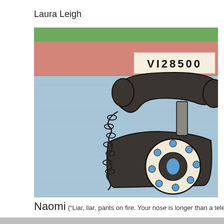Laura Leigh
[Figure (illustration): Child's crayon drawing of a vintage rotary telephone with handset. Background is colored with horizontal bands: green at top, salmon/orange-pink in middle, blue below. A label with 'V I 2 8 5 0 0' is affixed near the top right of the drawing. The telephone body is dark grey/black with a rotary dial featuring blue dots. The curly handset cord hangs to the left.]
Naomi ("Liar, liar, pants on fire. Your nose is longer than a telephone wire.")